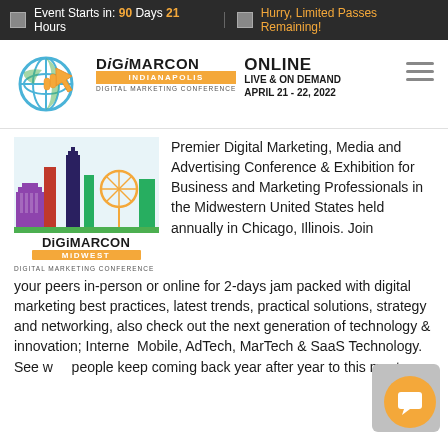Event Starts in: 90 Days 21 Hours  |  Hurry, Limited Passes Remaining!
[Figure (logo): DigiMarCon Indianapolis Digital Marketing Conference logo with globe and hand pointer icon, with ONLINE LIVE & ON DEMAND APRIL 21 - 22, 2022 text]
[Figure (logo): DigiMarCon Midwest Digital Marketing Conference logo with Chicago skyline illustration]
Premier Digital Marketing, Media and Advertising Conference & Exhibition for Business and Marketing Professionals in the Midwestern United States held annually in Chicago, Illinois. Join your peers in-person or online for 2-days jam packed with digital marketing best practices, latest trends, practical solutions, strategy and networking, also check out the next generation of technology & innovation; Internet, Mobile, AdTech, MarTech & SaaS Technology. See why people keep coming back year after year to this must-